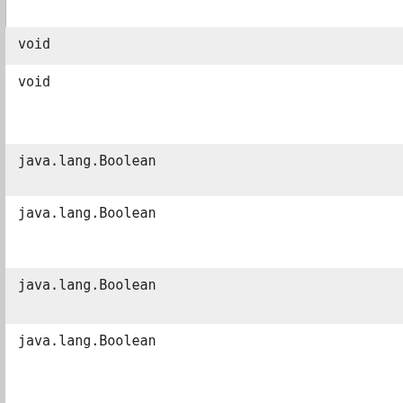void
void
java.lang.Boolean
java.lang.Boolean
java.lang.Boolean
java.lang.Boolean